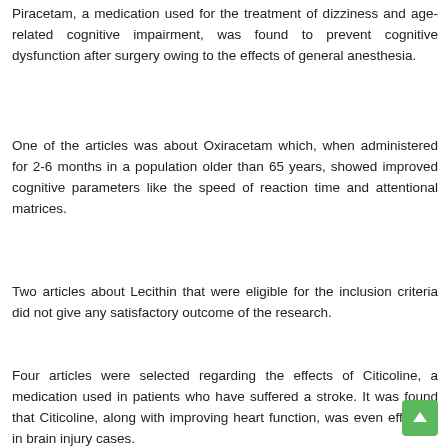Piracetam, a medication used for the treatment of dizziness and age-related cognitive impairment, was found to prevent cognitive dysfunction after surgery owing to the effects of general anesthesia.
One of the articles was about Oxiracetam which, when administered for 2-6 months in a population older than 65 years, showed improved cognitive parameters like the speed of reaction time and attentional matrices.
Two articles about Lecithin that were eligible for the inclusion criteria did not give any satisfactory outcome of the research.
Four articles were selected regarding the effects of Citicoline, a medication used in patients who have suffered a stroke. It was found that Citicoline, along with improving heart function, was even effective in brain injury cases.